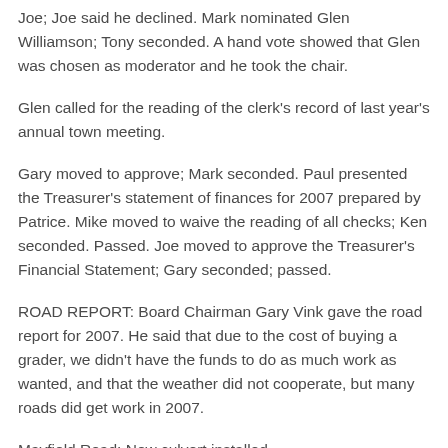Joe; Joe said he declined. Mark nominated Glen Williamson; Tony seconded. A hand vote showed that Glen was chosen as moderator and he took the chair.
Glen called for the reading of the clerk's record of last year's annual town meeting.
Gary moved to approve; Mark seconded. Paul presented the Treasurer's statement of finances for 2007 prepared by Patrice. Mike moved to waive the reading of all checks; Ken seconded. Passed. Joe moved to approve the Treasurer's Financial Statement; Gary seconded; passed.
ROAD REPORT: Board Chairman Gary Vink gave the road report for 2007. He said that due to the cost of buying a grader, we didn't have the funds to do as much work as wanted, and that the weather did not cooperate, but many roads did get work in 2007.
Mayfield Road: New culvert installed.